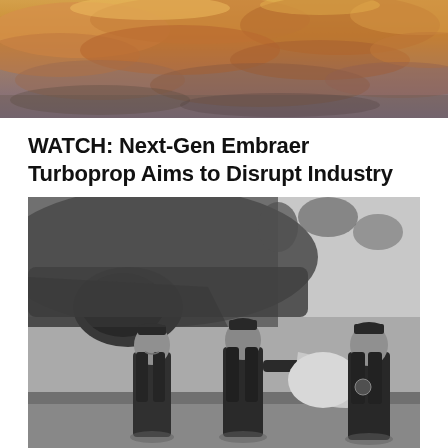[Figure (photo): Dramatic sky with orange and purple clouds viewed from above, likely from an aircraft]
WATCH: Next-Gen Embraer Turboprop Aims to Disrupt Industry
[Figure (photo): Black and white photograph of three military pilots or crew members standing in front of a propeller aircraft on a tarmac]